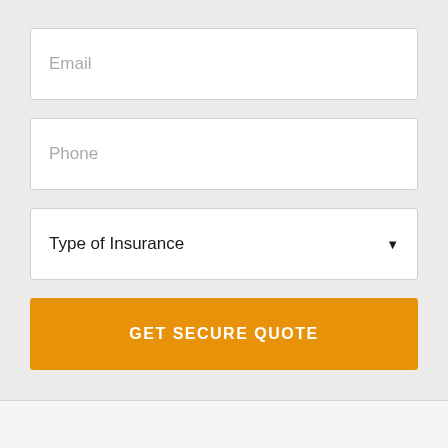Email
Phone
Type of Insurance
GET SECURE QUOTE
CUSTOMER REVIEWS